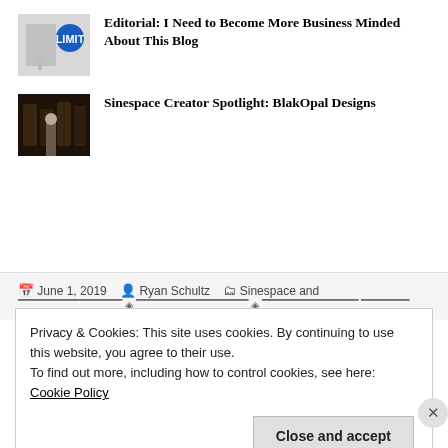Editorial: I Need to Become More Business Minded About This Blog
Sinespace Creator Spotlight: BlakOpal Designs
June 1, 2019  Ryan Schultz  Sinespace and
Privacy & Cookies: This site uses cookies. By continuing to use this website, you agree to their use.
To find out more, including how to control cookies, see here: Cookie Policy
Close and accept